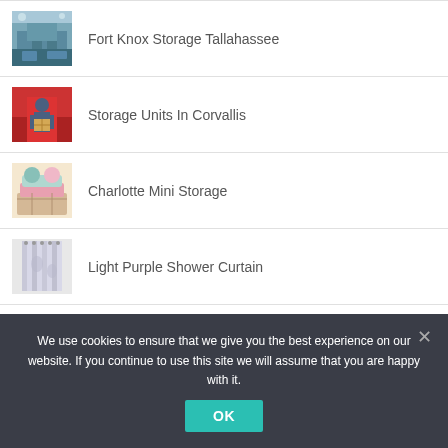Fort Knox Storage Tallahassee
Storage Units In Corvallis
Charlotte Mini Storage
Light Purple Shower Curtain
Superior Fireplace Company
We use cookies to ensure that we give you the best experience on our website. If you continue to use this site we will assume that you are happy with it.